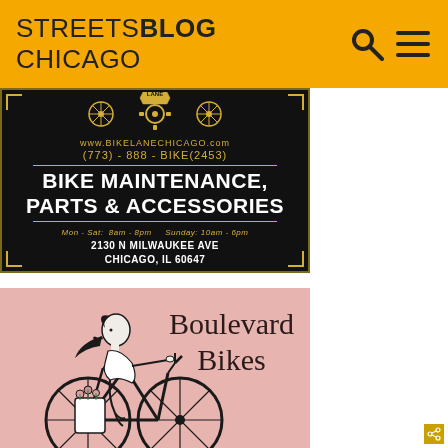STREETSBLOG CHICAGO
[Figure (illustration): Bike Lane Chicago advertisement: black background with gold decorative border and text. Shows bike wheel icons, gear icon, and 'LANE' text at top. Text: www.BIKELANECHICAGO.com, (773) - 888 - BIKE(2453), BIKE MAINTENANCE, PARTS & ACCESSORIES, Mon - Sat: 8AM - 8PM  Sunday: 10AM - 6PM, 2130 N MILWAUKEE AVE, CHICAGO, IL 60647]
[Figure (illustration): Boulevard Bikes advertisement: pink/dusty rose background with illustration of a woman riding a bicycle carrying flowers in a bag. Text 'Boulevard Bikes' in decorative serif font.]